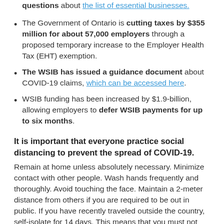The Government of Ontario is cutting taxes by $355 million for about 57,000 employers through a proposed temporary increase to the Employer Health Tax (EHT) exemption.
The WSIB has issued a guidance document about COVID-19 claims, which can be accessed here.
WSIB funding has been increased by $1.9-billion, allowing employers to defer WSIB payments for up to six months.
It is important that everyone practice social distancing to prevent the spread of COVID-19.
Remain at home unless absolutely necessary. Minimize contact with other people. Wash hands frequently and thoroughly. Avoid touching the face. Maintain a 2-meter distance from others if you are required to be out in public. If you have recently traveled outside the country, self-isolate for 14 days. This means that you must not leave your home under any circumstances...